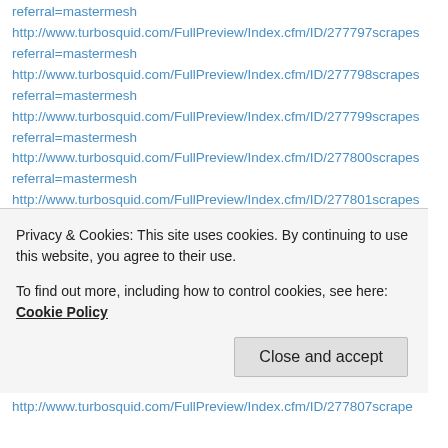referral=mastermesh
http://www.turbosquid.com/FullPreview/Index.cfm/ID/277797scrapes referral=mastermesh
http://www.turbosquid.com/FullPreview/Index.cfm/ID/277798scrapes referral=mastermesh
http://www.turbosquid.com/FullPreview/Index.cfm/ID/277799scrapes referral=mastermesh
http://www.turbosquid.com/FullPreview/Index.cfm/ID/277800scrapes referral=mastermesh
http://www.turbosquid.com/FullPreview/Index.cfm/ID/277801scrapes referral=mastermesh
http://www.turbosquid.com/FullPreview/Index.cfm/ID/277802scrapes referral=mastermesh
http://www.turbosquid.com/FullPreview/Index.cfm/ID/277803scrapes referral=mastermesh
Privacy & Cookies: This site uses cookies. By continuing to use this website, you agree to their use. To find out more, including how to control cookies, see here: Cookie Policy
http://www.turbosquid.com/FullPreview/Index.cfm/ID/277807scrape